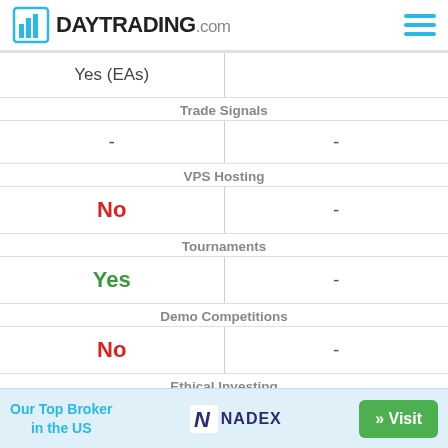DAYTRADING.com
| Col1 | Col2 |
| --- | --- |
| Yes (EAs) |  |
| Trade Signals |  |
| - | - |
| VPS Hosting |  |
| No | - |
| Tournaments |  |
| Yes | - |
| Demo Competitions |  |
| No | - |
| Ethical Investing |  |
| No | - |
| Social Trading |  |
Our Top Broker in the US  NADEX  » Visit